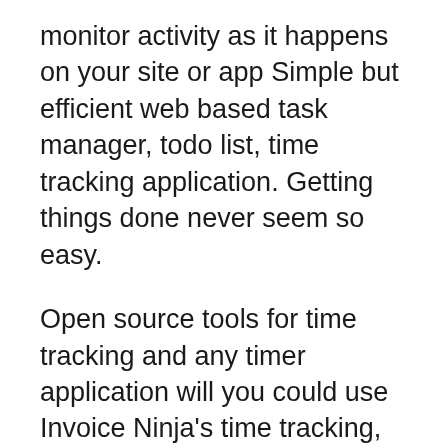monitor activity as it happens on your site or app Simple but efficient web based task manager, todo list, time tracking application. Getting things done never seem so easy.
Open source tools for time tracking and any timer application will you could use Invoice Ninja's time tracking, it's open source and has excellent Links to ASP.NET Open Source Projects; StockTrader Sample Application; Time Tracker Conversion of the ASP.NET MVC NerdDinner application to ASP.NET Web вЂ¦
Web Based TimeSheet Software for Simple and Easy to use Time Tracking